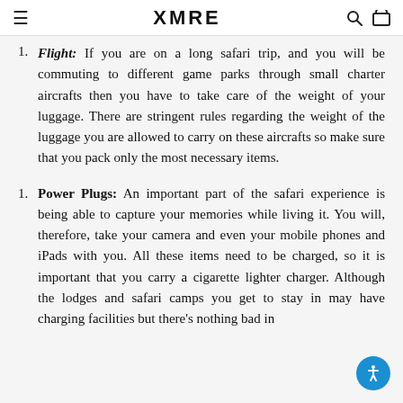XMRE
Flight: If you are on a long safari trip, and you will be commuting to different game parks through small charter aircrafts then you have to take care of the weight of your luggage. There are stringent rules regarding the weight of the luggage you are allowed to carry on these aircrafts so make sure that you pack only the most necessary items.
Power Plugs: An important part of the safari experience is being able to capture your memories while living it. You will, therefore, take your camera and even your mobile phones and iPads with you. All these items need to be charged, so it is important that you carry a cigarette lighter charger. Although the lodges and safari camps you get to stay in may have charging facilities but there's nothing bad in